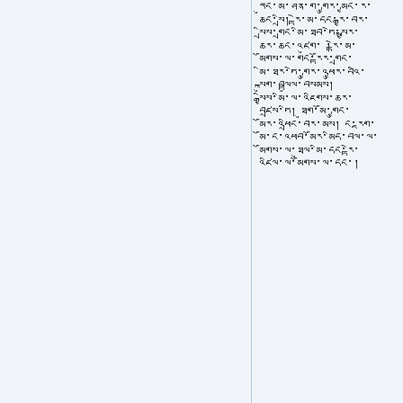Tibetan script text lines in right column panel